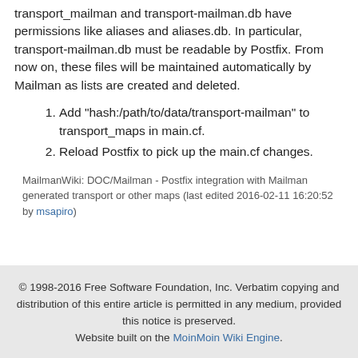transport mailman and transport-mailman.db have permissions like aliases and aliases.db. In particular, transport-mailman.db must be readable by Postfix. From now on, these files will be maintained automatically by Mailman as lists are created and deleted.
Add "hash:/path/to/data/transport-mailman" to transport_maps in main.cf.
Reload Postfix to pick up the main.cf changes.
MailmanWiki: DOC/Mailman - Postfix integration with Mailman generated transport or other maps (last edited 2016-02-11 16:20:52 by msapiro)
© 1998-2016 Free Software Foundation, Inc. Verbatim copying and distribution of this entire article is permitted in any medium, provided this notice is preserved. Website built on the MoinMoin Wiki Engine.